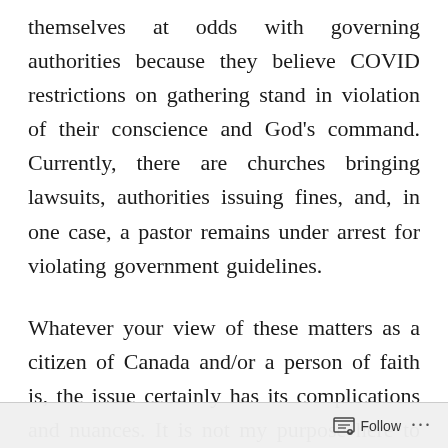themselves at odds with governing authorities because they believe COVID restrictions on gathering stand in violation of their conscience and God's command. Currently, there are churches bringing lawsuits, authorities issuing fines, and, in one case, a pastor remains under arrest for violating government guidelines.
Whatever your view of these matters as a citizen of Canada and/or a person of faith is, the issue certainly has its complications and nuances. It is not my purpose here to dive into the conversation about religious freedom and government authority. One thing, however, is clear. Even when
Follow